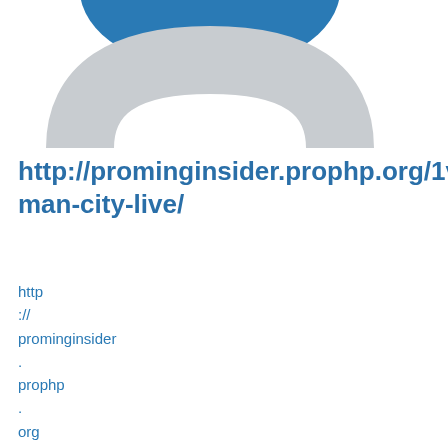[Figure (logo): Partial logo showing a blue semi-circle on top and a light gray arch/curve shape below it, resembling a stylized person or abstract icon against a white background]
http://prominginsider.prophp.org/1vs-man-city-live/
http
://
prominginsider
.
prophp
.
org
/
fcb